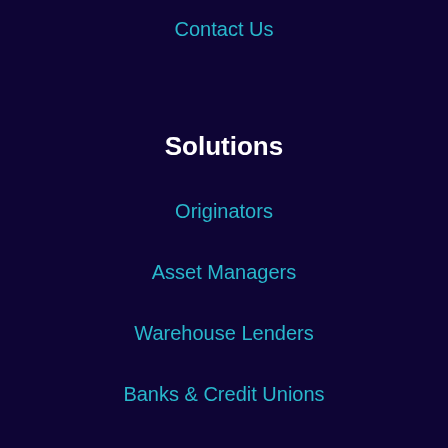Contact Us
Solutions
Originators
Asset Managers
Warehouse Lenders
Banks & Credit Unions
Legal
Privacy Policy